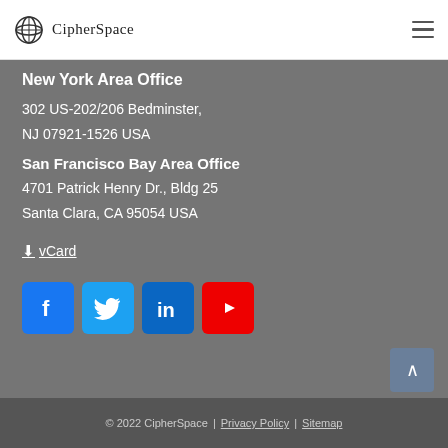CipherSpace
New York Area Office
302 US-202/206 Bedminster, NJ 07921-1526 USA
San Francisco Bay Area Office
4701 Patrick Henry Dr., Bldg 25
Santa Clara, CA 95054 USA
↓vCard
[Figure (infographic): Row of four social media icon buttons: Facebook (blue), Twitter (light blue), LinkedIn (dark blue), YouTube (red)]
© 2022 CipherSpace | Privacy Policy | Sitemap